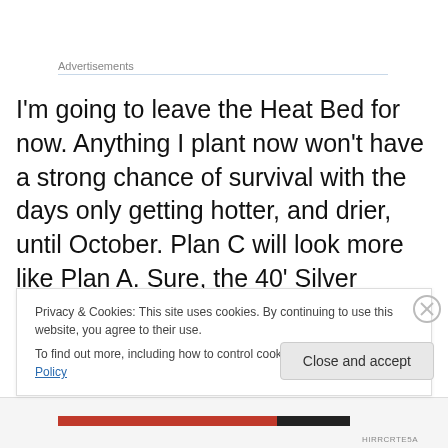Advertisements
I'm going to leave the Heat Bed for now. Anything I plant now won't have a strong chance of survival with the days only getting hotter, and drier, until October. Plan C will look more like Plan A. Sure, the 40' Silver Maple is gone. But the Fragrant Mimosa gained a foot these last six weeks, the Mexican Bush Sage is still blooming it's purple velvet
Privacy & Cookies: This site uses cookies. By continuing to use this website, you agree to their use.
To find out more, including how to control cookies, see here: Cookie Policy
Close and accept